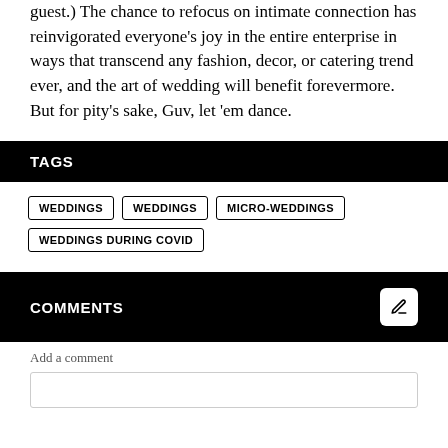guest.) The chance to refocus on intimate connection has reinvigorated everyone's joy in the entire enterprise in ways that transcend any fashion, decor, or catering trend ever, and the art of wedding will benefit forevermore. But for pity's sake, Guv, let 'em dance.
TAGS
WEDDINGS
WEDDINGS
MICRO-WEDDINGS
WEDDINGS DURING COVID
COMMENTS
Add a comment